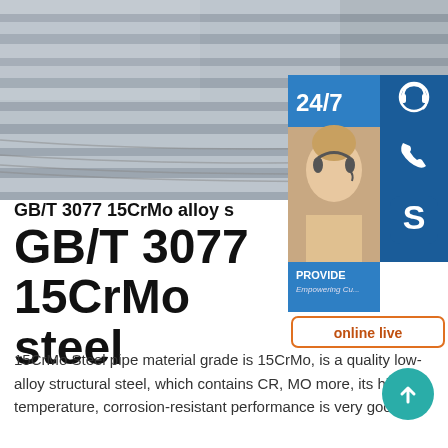[Figure (photo): Stack of GB/T 3077 15CrMo alloy steel plates/sheets, grey metallic surface, viewed from an angle]
[Figure (infographic): Customer service sidebar with 24/7 badge, headset icon, phone icon, Skype icon, agent photo, PROVIDE text, and online live button]
GB/T 3077 15CrMo alloy s
GB/T 3077 15CrMo alloy steel
15CrMo Steel pipe material grade is 15CrMo, is a quality low-alloy structural steel, which contains CR, MO more, its high temperature, corrosion-resistant performance is very good.